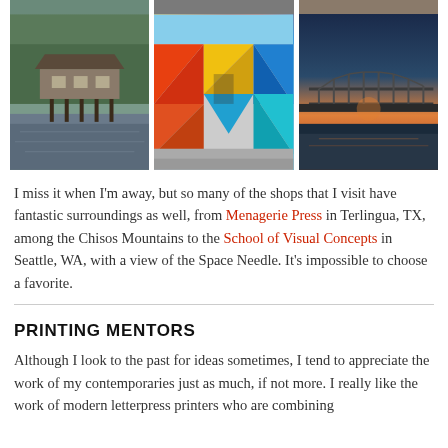[Figure (photo): Top strip of three partially visible photos from previous row]
[Figure (photo): Three photos side by side: left shows a house on stilts over water with trees; center shows a colorful geometric mural on a building with bold reds, yellows, blues; right shows a bridge at sunset/dusk over water]
I miss it when I'm away, but so many of the shops that I visit have fantastic surroundings as well, from Menagerie Press in Terlingua, TX, among the Chisos Mountains to the School of Visual Concepts in Seattle, WA, with a view of the Space Needle. It's impossible to choose a favorite.
PRINTING MENTORS
Although I look to the past for ideas sometimes, I tend to appreciate the work of my contemporaries just as much, if not more. I really like the work of modern letterpress printers who are combining